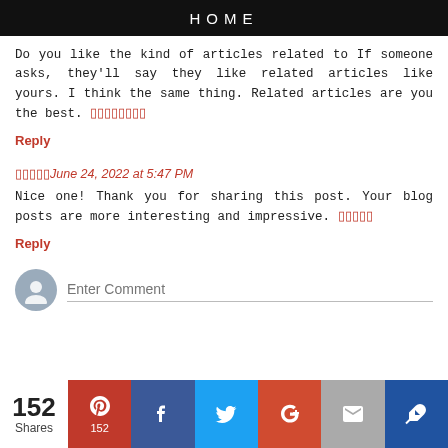HOME
Do you like the kind of articles related to If someone asks, they'll say they like related articles like yours. I think the same thing. Related articles are you the best.
Reply
June 24, 2022 at 5:47 PM
Nice one! Thank you for sharing this post. Your blog posts are more interesting and impressive.
Reply
Enter Comment
152 Shares